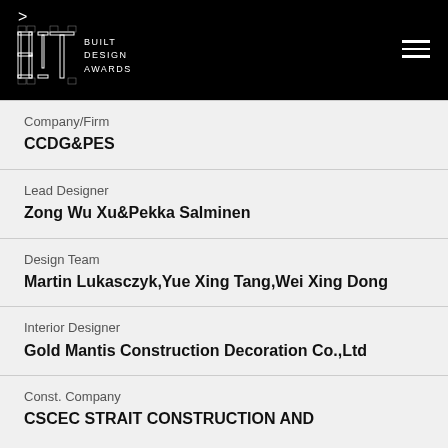BIT BUILT DESIGN AWARDS
Company/Firm
CCDG&PES
Lead Designer
Zong Wu Xu&Pekka Salminen
Design Team
Martin Lukasczyk,Yue Xing Tang,Wei Xing Dong
Interior Designer
Gold Mantis Construction Decoration Co.,Ltd
Const. Company
CSCEC STRAIT CONSTRUCTION AND